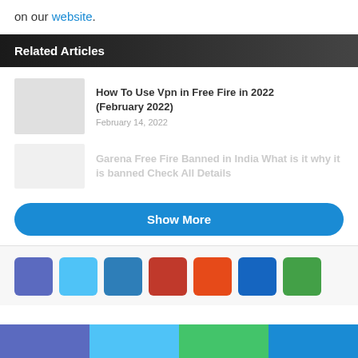on our website.
Related Articles
How To Use Vpn in Free Fire in 2022 (February 2022)
February 14, 2022
Garena Free Fire Banned in India What is it why it is banned Check All Details
Show More
[Figure (infographic): Row of 7 social media share icon buttons in various colors: purple, light blue, dark blue, red, orange, blue, green]
[Figure (infographic): Footer color bar with four segments: purple/indigo, sky blue, green, blue]